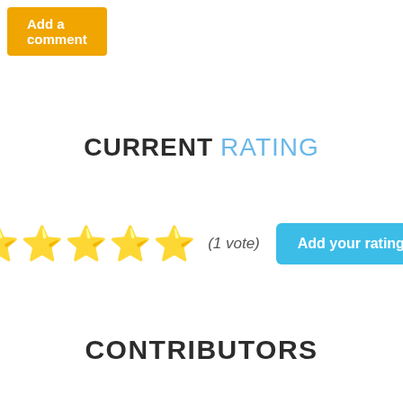Add a comment
CURRENT RATING
★★★★★ (1 vote)  Add your rating
CONTRIBUTORS